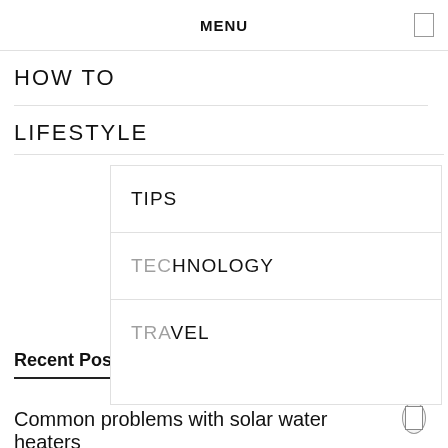MENU
HOW TO
LIFESTYLE
TIPS
HNOLOGY
VEL
PREVIOUS POST
NEXT POST
Recent Posts
Common problems with solar water heaters